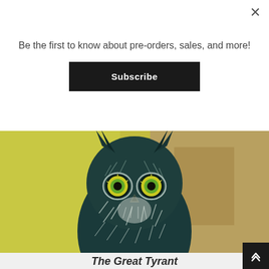Be the first to know about pre-orders, sales, and more!
Subscribe
[Figure (illustration): Painting of a great horned owl with intense yellow-green eyes, teal and dark feathers, against a yellow-green and brown painted background.]
The Great Tyrant